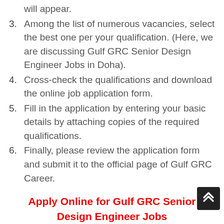will appear.
Among the list of numerous vacancies, select the best one per your qualification. (Here, we are discussing Gulf GRC Senior Design Engineer Jobs in Doha).
Cross-check the qualifications and download the online job application form.
Fill in the application by entering your basic details by attaching copies of the required qualifications.
Finally, please review the application form and submit it to the official page of Gulf GRC Career.
Apply Online for Gulf GRC Senior Design Engineer Jobs
Similar Posts:-